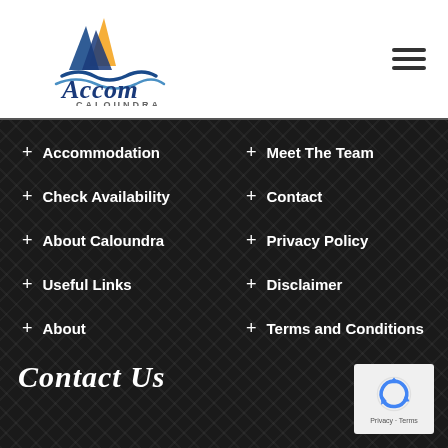[Figure (logo): Accom Caloundra logo with sailboat graphic and stylized text]
+ Accommodation
+ Meet The Team
+ Check Availability
+ Contact
+ About Caloundra
+ Privacy Policy
+ Useful Links
+ Disclaimer
+ About
+ Terms and Conditions
Contact Us
[Figure (logo): Google reCAPTCHA badge with Privacy and Terms links]